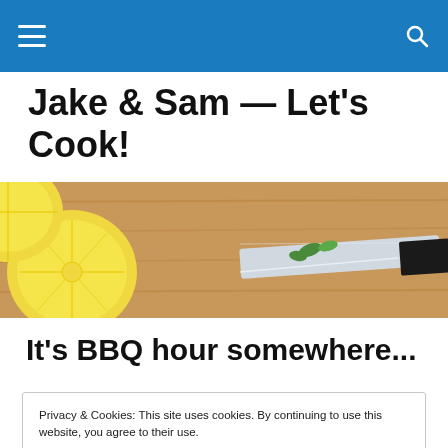Jake & Sam — Let's Cook! [navigation bar with menu and search icons]
Jake & Sam — Let's Cook!
[Figure (photo): Close-up photo of lemon slices and a chef's knife with herbs on a wooden cutting board]
It's BBQ hour somewhere...
Privacy & Cookies: This site uses cookies. By continuing to use this website, you agree to their use. To find out more, including how to control cookies, see here: Cookie Policy
providing recipes that are both out of the ordinary; and